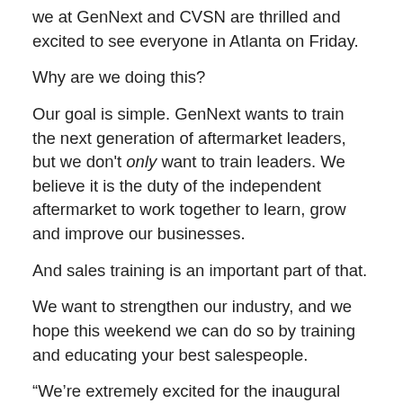we at GenNext and CVSN are thrilled and excited to see everyone in Atlanta on Friday.
Why are we doing this?
Our goal is simple. GenNext wants to train the next generation of aftermarket leaders, but we don't only want to train leaders. We believe it is the duty of the independent aftermarket to work together to learn, grow and improve our businesses.
And sales training is an important part of that.
We want to strengthen our industry, and we hope this weekend we can do so by training and educating your best salespeople.
“We’re extremely excited for the inaugural year of the GenNext/CVSN Distributor Training Expo,” says Steve Hansen, former GenNext president and event organizer, and director of corporate accounts at Minimizer. “We will have 150 distributor attendees, 14